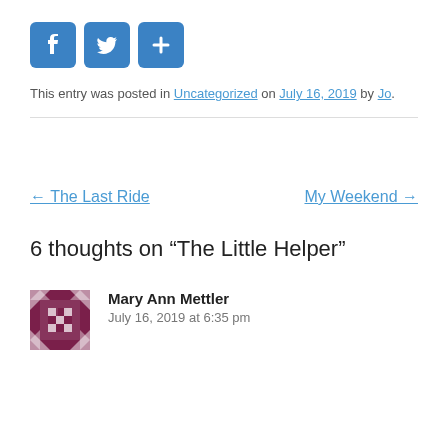[Figure (infographic): Social sharing buttons: Facebook (f), Twitter (bird), and a plus/share icon, all in blue rounded squares]
This entry was posted in Uncategorized on July 16, 2019 by Jo.
← The Last Ride   My Weekend →
6 thoughts on “The Little Helper”
[Figure (illustration): Avatar image for Mary Ann Mettler — a decorative quilt/geometric pattern in dark maroon and white]
Mary Ann Mettler
July 16, 2019 at 6:35 pm